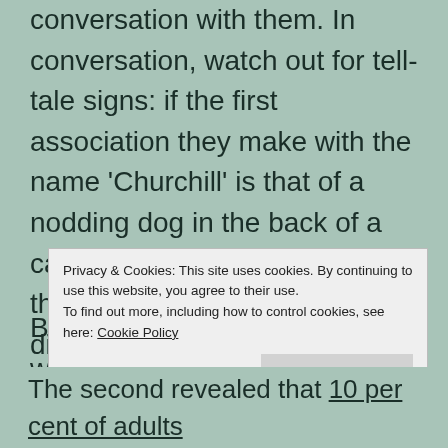conversation with them. In conversation, watch out for tell-tale signs: if the first association they make with the name 'Churchill' is that of a nodding dog in the back of a car, they might not be the real thing. If they can tell the difference between Thomas and Oliver Cromwell, you might be on to something.
But here's the worrying thing: while more of us are pretending to be nerds, fewer of us actually are.
Privacy & Cookies: This site uses cookies. By continuing to use this website, you agree to their use. To find out more, including how to control cookies, see here: Cookie Policy
The second revealed that 10 per cent of adults